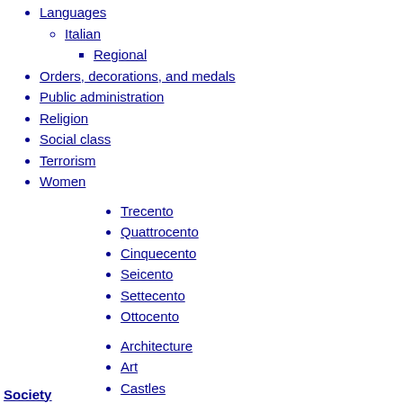Languages
Italian
Regional
Orders, decorations, and medals
Public administration
Religion
Social class
Terrorism
Women
Trecento
Quattrocento
Cinquecento
Seicento
Settecento
Ottocento
Architecture
Art
Castles
Cathedrals
Cinema
Cuisine
Meal structure
Cultural icons
Design
Society